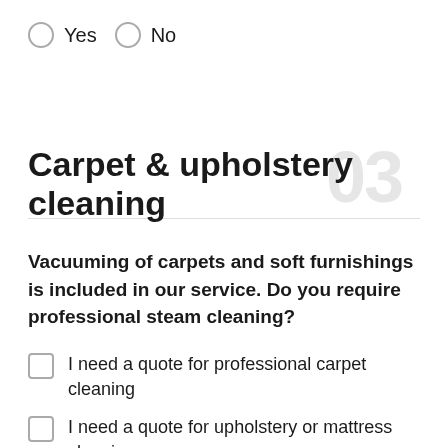Yes   No
Carpet & upholstery cleaning
Vacuuming of carpets and soft furnishings is included in our service. Do you require professional steam cleaning?
I need a quote for professional carpet cleaning
I need a quote for upholstery or mattress cleaning